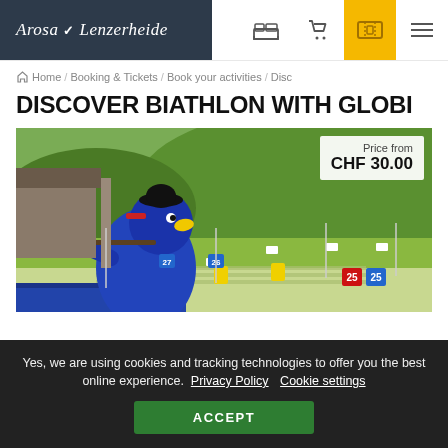Arosa Lenzerheide — navigation header with logo, bed icon, cart icon, ticket icon, menu icon
Home / Booking & Tickets / Book your activities / Disc...
DISCOVER BIATHLON WITH GLOBI
[Figure (photo): A blue bird mascot (Globi) aiming a biathlon rifle at a shooting range in a mountain setting. Numbered targets and lanes visible on green grass, wooden building in background. Price overlay: 'Price from CHF 30.00'.]
Yes, we are using cookies and tracking technologies to offer you the best online experience. Privacy Policy Cookie settings
ACCEPT